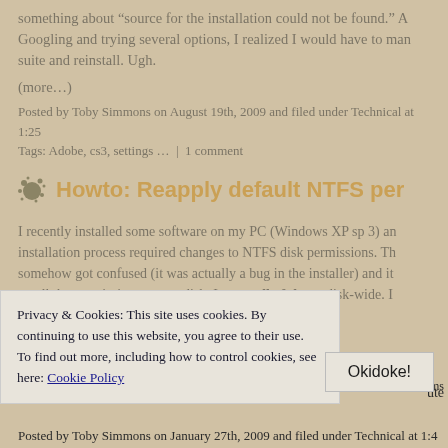something about “source for the installation could not be found.” After Googling and trying several options, I realized I would have to manually remove the suite and reinstall. Ugh.
(more…)
Posted by Toby Simmons on August 19th, 2009 and filed under Technical at 1:25
Tags: Adobe, cs3, settings … | 1 comment
Howto: Reapply default NTFS per
I recently installed some software on my PC (Windows XP sp 3) and the installation process required changes to NTFS disk permissions. The installer somehow got confused (it was actually a bug in the installer) and it messed up all the permissions on my disk. I mean all of them, disk-wide. I
Privacy & Cookies: This site uses cookies. By continuing to use this website, you agree to their use.
To find out more, including how to control cookies, see here: Cookie Policy
Okidoke!
Posted by Toby Simmons on January 27th, 2009 and filed under Technical at 1:4